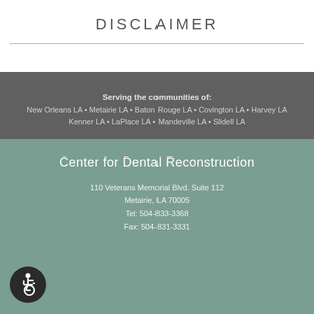DISCLAIMER
Serving the communities of:
New Orleans LA • Metairie LA • Baton Rouge LA • Covington LA • Harvey LA
Kenner LA • LaPlace LA • Mandeville LA • Slidell LA
Center for Dental Reconstruction
110 Veterans Memorial Blvd. Suite 112
Metairie, LA 70005
Tel: 504-833-3368
Fax: 504-831-3331